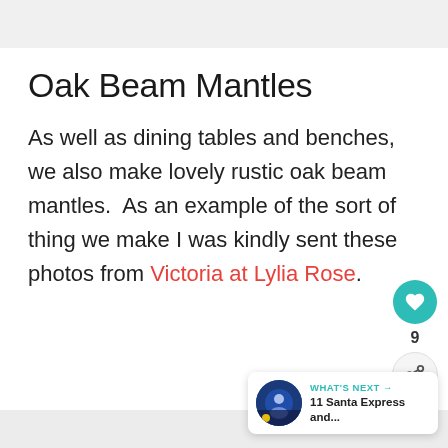Oak Beam Mantles
As well as dining tables and benches, we also make lovely rustic oak beam mantles.  As an example of the sort of thing we make I was kindly sent these photos from Victoria at Lylia Rose.